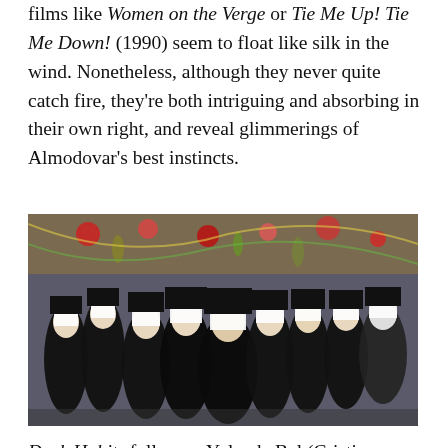films like Women on the Verge or Tie Me Up! Tie Me Down! (1990) seem to float like silk in the wind. Nonetheless, although they never quite catch fire, they're both intriguing and absorbing in their own right, and reveal glimmerings of Almodovar's best instincts.
[Figure (photo): A group of nuns dressed in black and white habits standing together in what appears to be a festively decorated venue with colorful lights and streamers.]
Dark Habits follows a Yolanda Bel (Cristina Sánchez Pascual), nightclub singer, in hiding and from a state where...